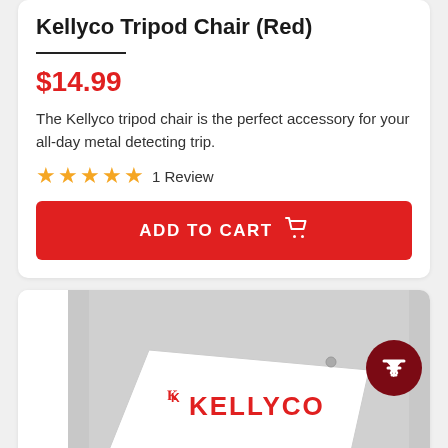Kellyco Tripod Chair (Red)
$14.99
The Kellyco tripod chair is the perfect accessory for your all-day metal detecting trip.
★★★★★  1 Review
ADD TO CART
[Figure (photo): A white Kellyco branded bag/pouch with red Kellyco logo text on a grey background]